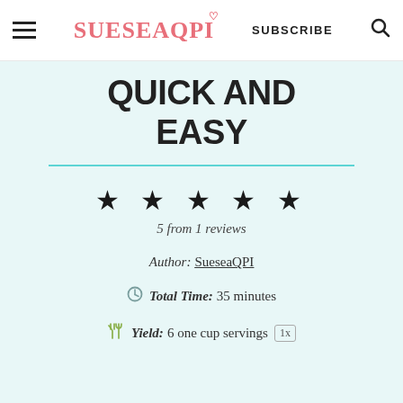SUESEAQPI  SUBSCRIBE
QUICK AND EASY
★ ★ ★ ★ ★
5 from 1 reviews
Author: SueseaQPI
Total Time: 35 minutes
Yield: 6 one cup servings 1x